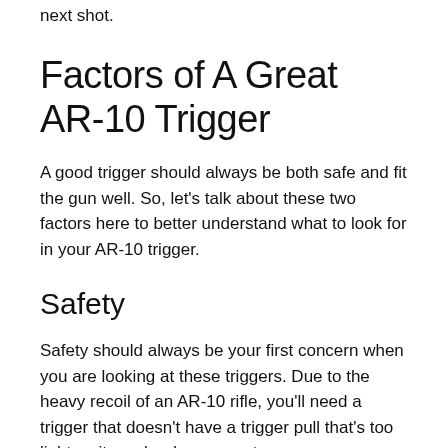next shot.
Factors of A Great AR-10 Trigger
A good trigger should always be both safe and fit the gun well. So, let’s talk about these two factors here to better understand what to look for in your AR-10 trigger.
Safety
Safety should always be your first concern when you are looking at these triggers. Due to the heavy recoil of an AR-10 rifle, you’ll need a trigger that doesn’t have a trigger pull that’s too light as it can be dangerous to